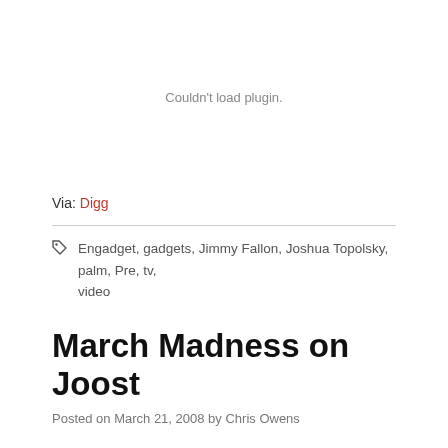[Figure (other): Plugin area showing 'Couldn't load plugin.' message]
Via: Digg
Engadget, gadgets, Jimmy Fallon, Joshua Topolsky, palm, Pre, tv, video
March Madness on Joost
Posted on March 21, 2008 by Chris Owens